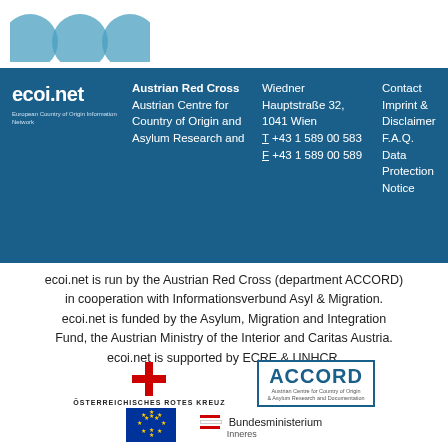[Figure (logo): ecoi.net logo circles (partial, top of page)]
ecoi.net | Austrian Red Cross | Austrian Centre for Country of Origin and Asylum Research and | Wiedner Hauptstraße 32, 1041 Wien | T +43 1 589 00 583 | F +43 1 589 00 589 | Contact | Imprint & Disclaimer | F.A.Q. | Data Protection Notice
ecoi.net is run by the Austrian Red Cross (department ACCORD) in cooperation with Informationsverbund Asyl & Migration. ecoi.net is funded by the Asylum, Migration and Integration Fund, the Austrian Ministry of the Interior and Caritas Austria. ecoi.net is supported by ECRE & UNHCR.
[Figure (logo): Österreichisches Rotes Kreuz logo with red cross symbol and text]
[Figure (logo): ACCORD logo — Austrian Centre for Country of Origin & Asylum Research and Documentation]
[Figure (logo): EU flag]
[Figure (logo): Bundesministerium Inneres logo with Austrian flag stripes]